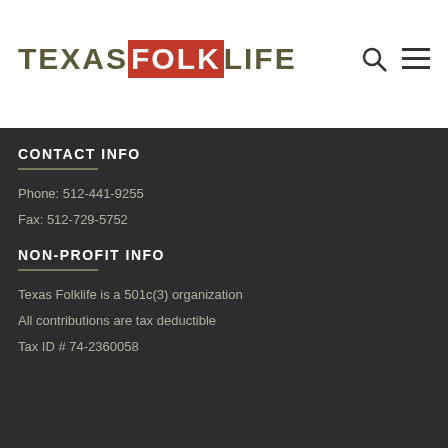[Figure (logo): Texas Folklife logo with 'FOLK' in red box and remaining text in olive/dark color]
DONATE
CONTACT INFO
Phone: 512-441-9255
Fax: 512-729-5752
NON-PROFIT INFO
Texas Folklife is a 501c(3) organization
All contributions are tax deductible
Tax ID # 74-2360058